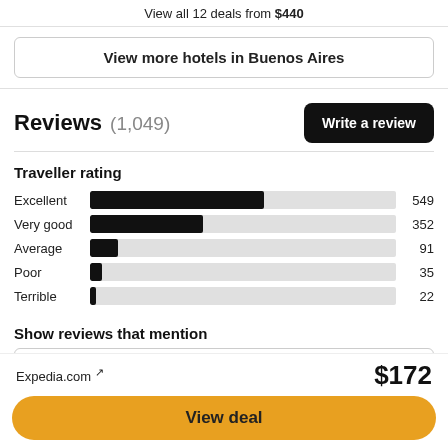View all 12 deals from $440
View more hotels in Buenos Aires
Reviews (1,049)
[Figure (bar-chart): Traveller rating]
Show reviews that mention
Expedia.com ↗  $172  View deal